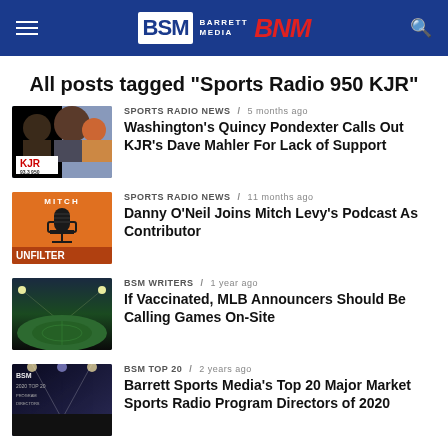BSM Barrett Media BNM
All posts tagged "Sports Radio 950 KJR"
[Figure (photo): KJR radio station logo with hosts photo collage, showing 93.3 and 950 frequencies]
SPORTS RADIO NEWS / 5 months ago
Washington's Quincy Pondexter Calls Out KJR's Dave Mahler For Lack of Support
[Figure (photo): Orange podcast artwork for Mitch Levy's UNFILTER podcast featuring a microphone graphic]
SPORTS RADIO NEWS / 11 months ago
Danny O'Neil Joins Mitch Levy's Podcast As Contributor
[Figure (photo): Baseball stadium at night with green field illuminated]
BSM WRITERS / 1 year ago
If Vaccinated, MLB Announcers Should Be Calling Games On-Site
[Figure (photo): Dark event/stage photo with BSM branding for Top 20 Program Directors list]
BSM TOP 20 / 2 years ago
Barrett Sports Media's Top 20 Major Market Sports Radio Program Directors of 2020